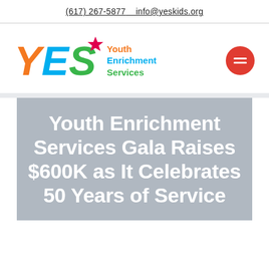(617) 267-5877    info@yeskids.org
[Figure (logo): YES Youth Enrichment Services logo with orange Y, blue E, green S letters and a red star, plus colorful tagline text, and a red circular hamburger menu button on the right]
Youth Enrichment Services Gala Raises $600K as It Celebrates 50 Years of Service